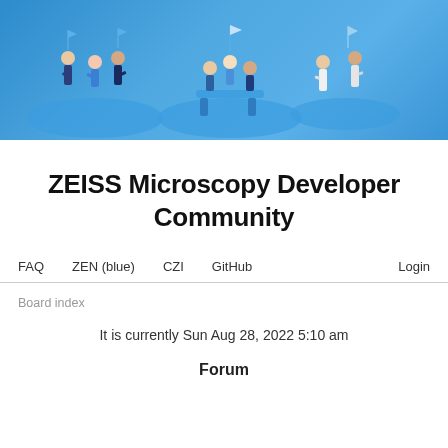[Figure (illustration): ZEISS Microscopy Developer Community banner with blue background showing isometric illustrations of people in group discussions]
ZEISS Microscopy Developer Community
FAQ   ZEN (blue)   CZI   GitHub   Login
Board index
It is currently Sun Aug 28, 2022 5:10 am
Forum